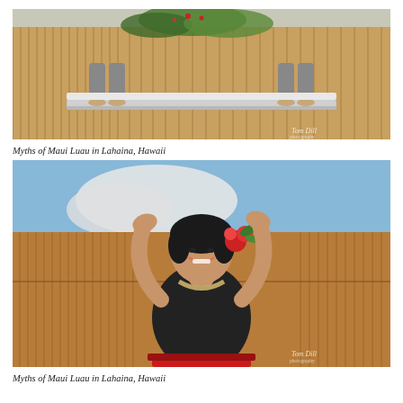[Figure (photo): Outdoor photo at Myths of Maui Luau: two people standing behind a metal bench/drum, with tropical plants and a bamboo fence in the background. A photographer watermark 'Tom Dill Photography' is visible in the lower right.]
Myths of Maui Luau in Lahaina, Hawaii
[Figure (photo): Hula dancer at Myths of Maui Luau in Lahaina, Hawaii. A smiling woman in a black top and red skirt, wearing a floral hair piece and lei, raises both hands upward in a dance pose against a bamboo fence background with blue sky. A photographer watermark 'Tom Dill Photography' is visible in the lower right.]
Myths of Maui Luau in Lahaina, Hawaii